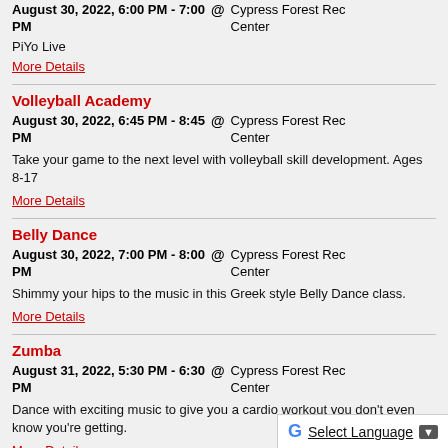August 30, 2022, 6:00 PM - 7:00 PM  @  Cypress Forest Rec Center
PiYo Live
More Details
Volleyball Academy
August 30, 2022, 6:45 PM - 8:45 PM  @  Cypress Forest Rec Center
Take your game to the next level with volleyball skill development. Ages 8-17
More Details
Belly Dance
August 30, 2022, 7:00 PM - 8:00 PM  @  Cypress Forest Rec Center
Shimmy your hips to the music in this Greek style Belly Dance class.
More Details
Zumba
August 31, 2022, 5:30 PM - 6:30 PM  @  Cypress Forest Rec Center
Dance with exciting music to give you a cardio workout you don't even know you're getting.
More Details
Drawing & Cartooning